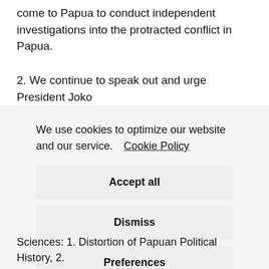come to Papua to conduct independent investigations into the protracted conflict in Papua.
2. We continue to speak out and urge President Joko
We use cookies to optimize our website and our service.  Cookie Policy
Accept all
Dismiss
Preferences
Sciences: 1. Distortion of Papuan Political History, 2.